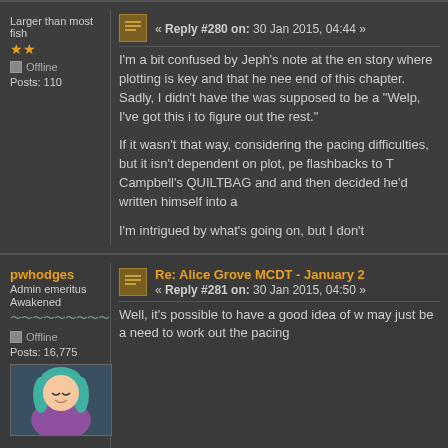Larger than most fish
Offline
Posts: 110
« Reply #280 on: 30 Jan 2015, 04:44 »
I'm a bit confused by Jeph's note at the en... story where plotting is key and that he nee... end of this chapter. Sadly, I didn't have the... was supposed to be a "Welp, I've got this i... to figure out the rest."
If it wasn't that way, considering the pacing... difficulties, but it isn't dependent on plot, pe... flashbacks to T Campbell's QUILTBAG and... and then decided he'd written himself into a...
I'm intrigued by what's going on, but I don't
pwhodges
Admin emeritus
Awakened
Offline
Posts: 16,775
Re: Alice Grove MCDT - January 2... « Reply #281 on: 30 Jan 2015, 04:50 »
Well, it's possible to have a good idea of w... may just be a need to work out the pacing